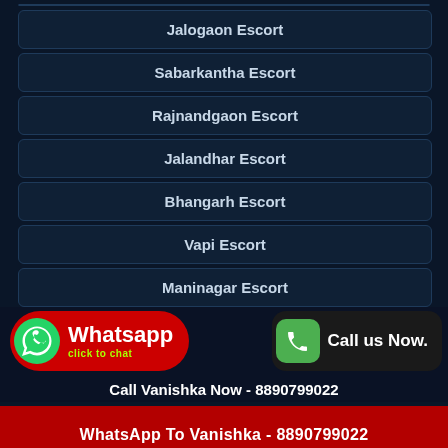Jalogaon Escort
Sabarkantha Escort
Rajnandgaon Escort
Jalandhar Escort
Bhangarh Escort
Vapi Escort
Maninagar Escort
Whatsapp click to chat
Call us Now.
Call Vanishka Now - 8890799022
WhatsApp To Vanishka - 8890799022